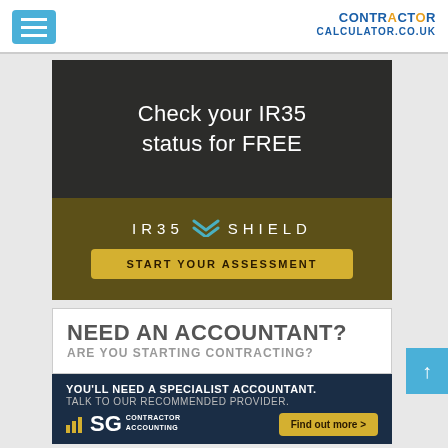CONTRACTOR CALCULATOR.CO.UK
[Figure (infographic): IR35 Shield advertisement. Dark background top section with white text: 'Check your IR35 status for FREE'. Olive/dark gold lower section with IR35 Shield logo and a gold 'START YOUR ASSESSMENT' button.]
[Figure (infographic): Accountant advertisement. White top section: 'NEED AN ACCOUNTANT? ARE YOU STARTING CONTRACTING?' Dark navy bottom section: 'YOU'LL NEED A SPECIALIST ACCOUNTANT. TALK TO OUR RECOMMENDED PROVIDER.' with SG Contractor Accounting logo and 'Find out more >' gold button.]